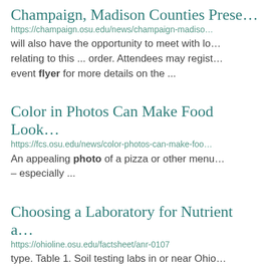Champaign, Madison Counties Prese…
https://champaign.osu.edu/news/champaign-madiso… will also have the opportunity to meet with lo… relating to this ... order. Attendees may regist… event flyer for more details on the ...
Color in Photos Can Make Food Look…
https://fcs.osu.edu/news/color-photos-can-make-foo… An appealing photo of a pizza or other menu… – especially ...
Choosing a Laboratory for Nutrient a…
https://ohioline.osu.edu/factsheet/anr-0107 type. Table 1. Soil testing labs in or near Ohio…